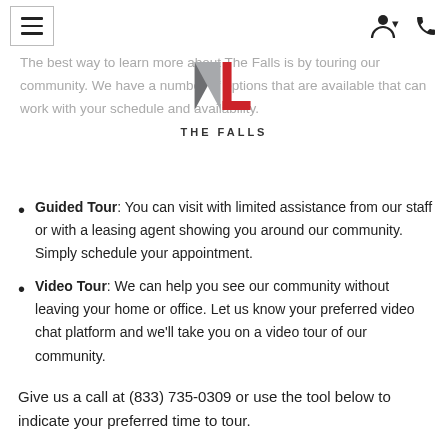Navigation header with hamburger menu and icons
[Figure (logo): The Falls logo — stylized NL monogram in dark gray and red with 'THE FALLS' text below]
The best way to learn more about The Falls is by touring our community. We have a number of options that are available that can work with your schedule and availability.
Guided Tour: You can visit with limited assistance from our staff or with a leasing agent showing you around our community. Simply schedule your appointment.
Video Tour: We can help you see our community without leaving your home or office. Let us know your preferred video chat platform and we'll take you on a video tour of our community.
Give us a call at (833) 735-0309 or use the tool below to indicate your preferred time to tour.